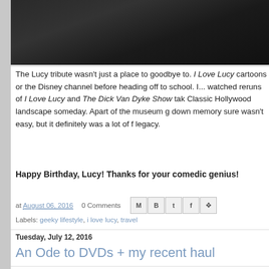[Figure (photo): Dark/black photograph, partially cropped at top of page, appears to show a dark interior room or display]
The Lucy tribute wasn't just a place to goodbye to. I Love Lucy cartoons or the Disney channel before heading off to school. Instead, I watched reruns of I Love Lucy and The Dick Van Dyke Show tak Classic Hollywood landscape someday. Apart of the museum g down memory sure wasn't easy, but it definitely was a lot of f legacy.
Happy Birthday, Lucy! Thanks for your comedic genius!
at August 06, 2016   0 Comments
Labels: geeky lifestyle, i love lucy, travel
Tuesday, July 12, 2016
An Ode to DVDs + my recent haul